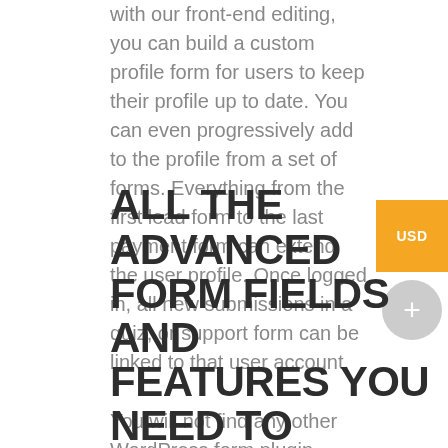with our front-end editing, you can build a custom profile form for users to keep their profile up to date. You can even progressively add to the profile from a set of forms. Everything from the first lead form to the last payment form can extend the user profile. Once logged in, all new submissions in a quiz, or support form can be linked to that user account.
You will not find any other WordPress form plugin offering a front-end editing solution with the same level of extendability.
ALL THE ADVANCED FORM FIELDS AND FEATURES YOU NEED TO